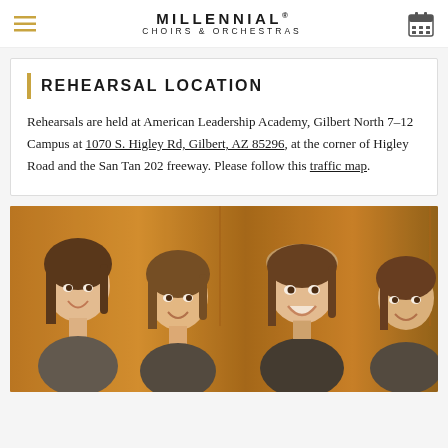MILLENNIAL CHOIRS & ORCHESTRAS
REHEARSAL LOCATION
Rehearsals are held at American Leadership Academy, Gilbert North 7–12 Campus at 1070 S. Higley Rd, Gilbert, AZ 85296, at the corner of Higley Road and the San Tan 202 freeway. Please follow this traffic map.
[Figure (photo): Group photo of four young women smiling, with warm wooden panel background]